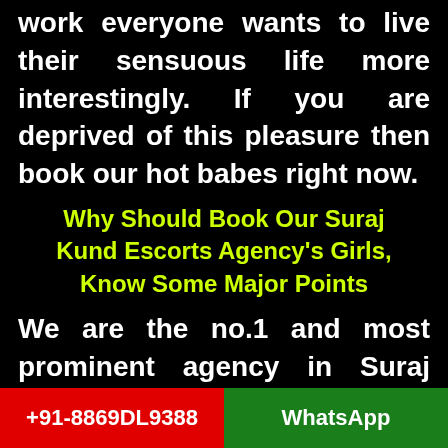work everyone wants to live their sensuous life more interestingly. If you are deprived of this pleasure then book our hot babes right now.
Why Should Book Our Suraj Kund Escorts Agency's Girls, Know Some Major Points
We are the no.1 and most prominent agency in Suraj Kund, we have a huge range of escorts and sex workers. They are well knowledgable, experienced, talented, trained, and skillful girls. In any situation, they will guarantee to give you a 100% satisfactory feel and the best comfort. The major point these all are very luxurious,
+91-8869DL9388   WhatsApp